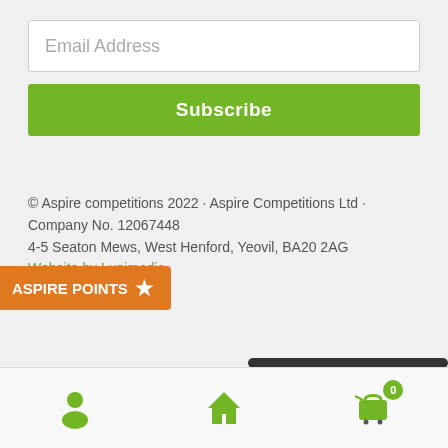Email Address
Subscribe
© Aspire competitions 2022 · Aspire Competitions Ltd · Company No. 12067448
4-5 Seaton Mews, West Henford, Yeovil, BA20 2AG
Website by Lupimedia.
[Figure (other): Aspire Points badge with star icon, orange background]
[Figure (other): Bottom navigation bar with person icon, home icon, and shopping cart icon with badge showing 0]